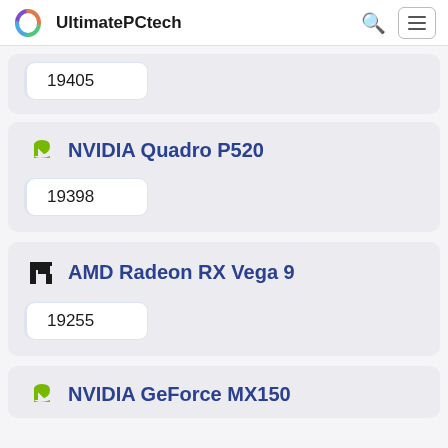UltimatePCtech
19405
NVIDIA Quadro P520
19398
AMD Radeon RX Vega 9
19255
NVIDIA GeForce MX150